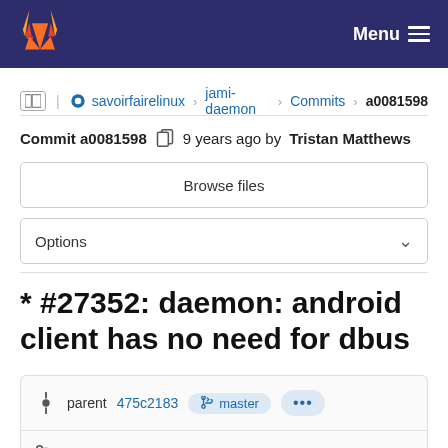GitLab Menu
savoirfairelinux > jami-daemon > Commits > a0081598
Commit a0081598  9 years ago by Tristan Matthews
Browse files
Options
* #27352: daemon: android client has no need for dbus
parent 475c2183  master  ...
No related merge requests found